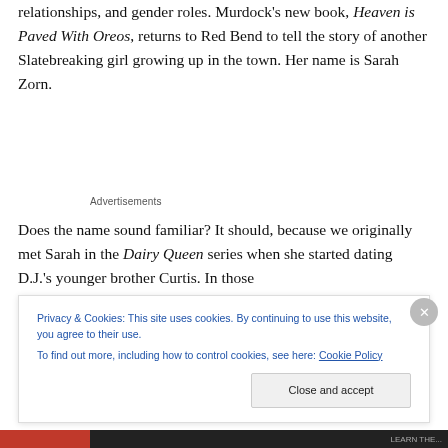relationships, and gender roles. Murdock's new book, Heaven is Paved With Oreos, returns to Red Bend to tell the story of another Slatebreaking girl growing up in the town. Her name is Sarah Zorn.
Advertisements
Does the name sound familiar? It should, because we originally met Sarah in the Dairy Queen series when she started dating D.J.'s younger brother Curtis. In those
Privacy & Cookies: This site uses cookies. By continuing to use this website, you agree to their use.
To find out more, including how to control cookies, see here: Cookie Policy
Close and accept